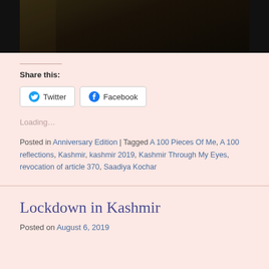[Figure (photo): Dark photograph partially visible at the top, showing a person among foliage in dim lighting]
Share this:
Twitter  Facebook
Loading...
Posted in Anniversary Edition | Tagged A 100 Pieces Of Me, A 100 reflections, Kashmir, kashmir 2019, Kashmir Through My Eyes, revocation of article 370, Saadiya Kochar
Lockdown in Kashmir
Posted on August 6, 2019